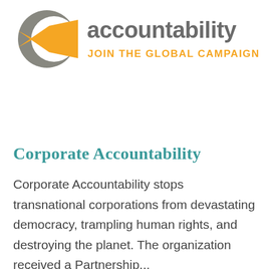[Figure (logo): Corporate Accountability logo: a grey circle with an orange speech-bubble arrow pointing left, next to the text 'accountability' in grey bold lowercase and 'JOIN THE GLOBAL CAMPAIGN' in orange uppercase below it.]
Corporate Accountability
Corporate Accountability stops transnational corporations from devastating democracy, trampling human rights, and destroying the planet. The organization received a Partnership...